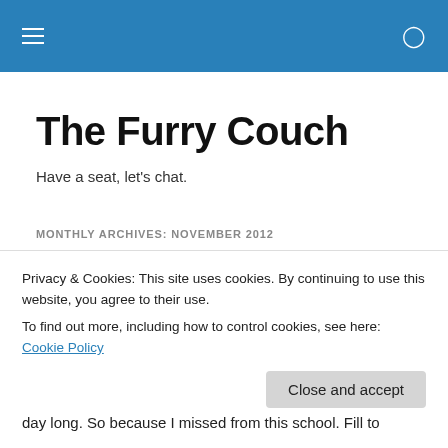The Furry Couch
Have a seat, let's chat.
MONTHLY ARCHIVES: NOVEMBER 2012
The Evil Peanut
Some of you may be wondering where I disappeared to...
Privacy & Cookies: This site uses cookies. By continuing to use this website, you agree to their use.
To find out more, including how to control cookies, see here: Cookie Policy
Close and accept